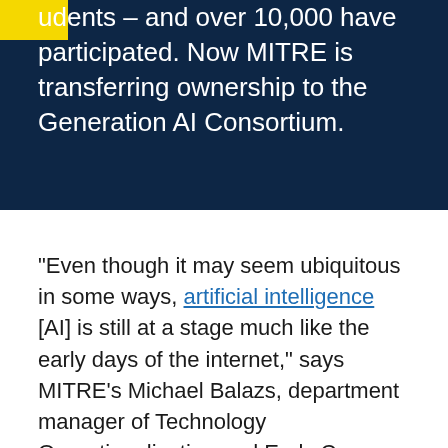udents – and over 10,000 have participated. Now MITRE is transferring ownership to the Generation AI Consortium.
“Even though it may seem ubiquitous in some ways, artificial intelligence [AI] is still at a stage much like the early days of the internet,” says MITRE’s Michael Balazs, department manager of Technology Operationalization and Early Career Programs. “And we know how much of our